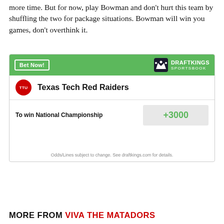more time. But for now, play Bowman and don't hurt this team by shuffling the two for package situations. Bowman will win you games, don't overthink it.
[Figure (infographic): DraftKings Sportsbook betting widget showing Texas Tech Red Raiders with odds to win National Championship at +3000. Green header with 'Bet Now!' button and DraftKings Sportsbook logo. Team shown with TTU circular badge.]
MORE FROM VIVA THE MATADORS